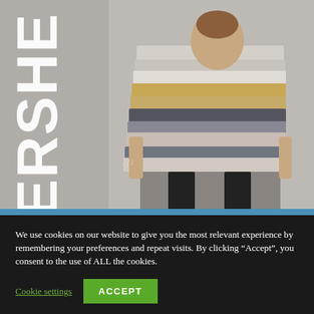[Figure (photo): A young woman holding a large stack of folded knitted sweaters and textiles in neutral, tan, mustard, and grey tones, standing against a concrete wall. Large white 'BERSHE' text is overlaid vertically on the left side of the image.]
We use cookies on our website to give you the most relevant experience by remembering your preferences and repeat visits. By clicking “Accept”, you consent to the use of ALL the cookies.
Cookie settings
ACCEPT